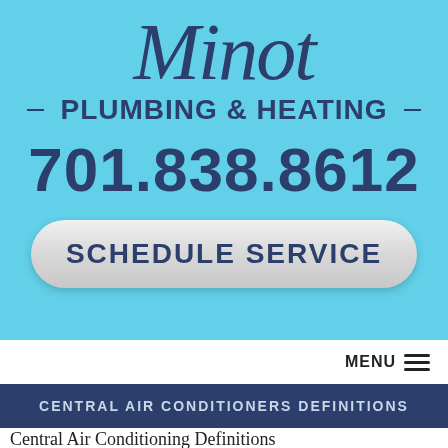Minot Plumbing & Heating
701.838.8612
SCHEDULE SERVICE
MENU
CENTRAL AIR CONDITIONERS DEFINITIONS
Central Air Conditioning Definitions